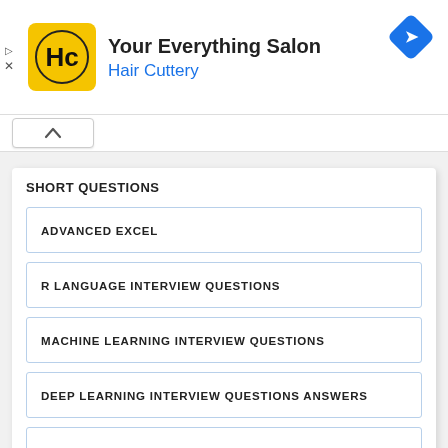[Figure (screenshot): Hair Cuttery advertisement banner with logo, title 'Your Everything Salon', subtitle 'Hair Cuttery', and a blue navigation diamond icon]
SHORT QUESTIONS
ADVANCED EXCEL
R LANGUAGE INTERVIEW QUESTIONS
MACHINE LEARNING INTERVIEW QUESTIONS
DEEP LEARNING INTERVIEW QUESTIONS ANSWERS